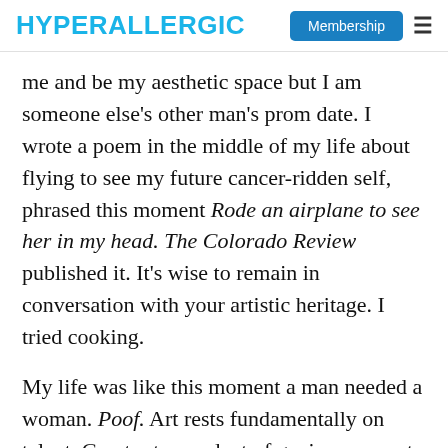HYPERALLERGIC | Membership
me and be my aesthetic space but I am someone else's other man's prom date. I wrote a poem in the middle of my life about flying to see my future cancer-ridden self, phrased this moment Rode an airplane to see her in my head. The Colorado Review published it. It's wise to remain in conversation with your artistic heritage. I tried cooking.
My life was like this moment a man needed a woman. Poof. Art rests fundamentally on talent. Great art a product of genius, near-art a product of near-genius. The bloodslug on my snow-